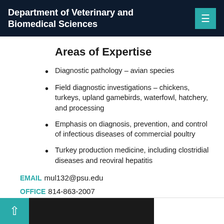Department of Veterinary and Biomedical Sciences
Areas of Expertise
Diagnostic pathology – avian species
Field diagnostic investigations – chickens, turkeys, upland gamebirds, waterfowl, hatchery, and processing
Emphasis on diagnosis, prevention, and control of infectious diseases of commercial poultry
Turkey production medicine, including clostridial diseases and reoviral hepatitis
EMAIL mul132@psu.edu
OFFICE 814-863-2007
Full Bio